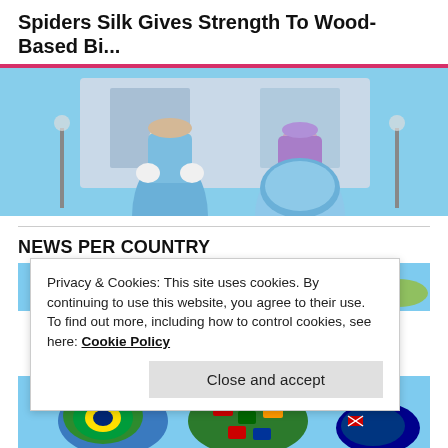Spiders Silk Gives Strength To Wood-Based Bi...
[Figure (photo): Two Disney-style costumed characters in colorful outfits standing outdoors in front of a building. One wears a blue suit and the other wears a blue and purple dress.]
NEWS PER COUNTRY
[Figure (map): World map showing countries colored with their respective national flags. Top portion of the map visible, with a red circle visible near Japan/Asia region.]
Privacy & Cookies: This site uses cookies. By continuing to use this website, you agree to their use.
To find out more, including how to control cookies, see here: Cookie Policy
Close and accept
[Figure (map): World map bottom portion showing countries colored with national flags including South America, Africa, and Australia regions.]